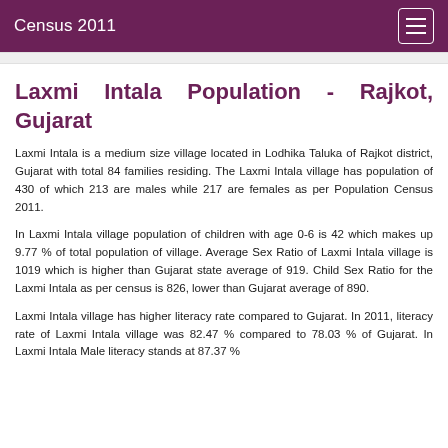Census 2011
Laxmi Intala Population - Rajkot, Gujarat
Laxmi Intala is a medium size village located in Lodhika Taluka of Rajkot district, Gujarat with total 84 families residing. The Laxmi Intala village has population of 430 of which 213 are males while 217 are females as per Population Census 2011.
In Laxmi Intala village population of children with age 0-6 is 42 which makes up 9.77 % of total population of village. Average Sex Ratio of Laxmi Intala village is 1019 which is higher than Gujarat state average of 919. Child Sex Ratio for the Laxmi Intala as per census is 826, lower than Gujarat average of 890.
Laxmi Intala village has higher literacy rate compared to Gujarat. In 2011, literacy rate of Laxmi Intala village was 82.47 % compared to 78.03 % of Gujarat. In Laxmi Intala Male literacy stands at 87.37 %